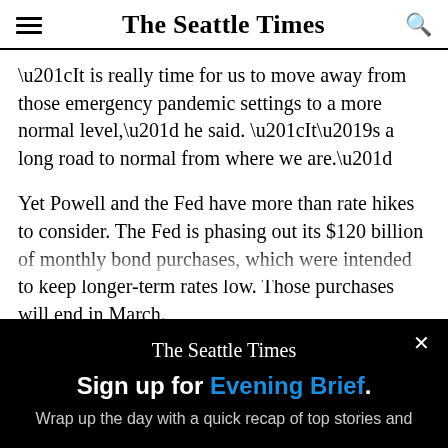The Seattle Times
“It is really time for us to move away from those emergency pandemic settings to a more normal level,” he said. “It’s a long road to normal from where we are.”
Yet Powell and the Fed have more than rate hikes to consider. The Fed is phasing out its $120 billion of monthly bond purchases, which were intended to keep longer-term rates low. Those purchases will end in March.
At its December meeting, policymakers discussed
[Figure (screenshot): The Seattle Times newsletter signup popup overlay on black background with close button (X), masthead logo, headline 'Sign up for Evening Brief.' in white and blue, and subtext 'Wrap up the day with a quick recap of top stories and']
Sign up for Evening Brief.
Wrap up the day with a quick recap of top stories and